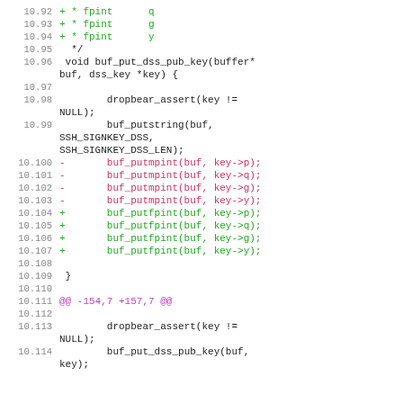[Figure (screenshot): Code diff showing lines 10.92 to 10.114 of a source file, with line numbers on the left. Lines include added lines (green, prefix +) and removed lines (red/pink, prefix -), plus context lines in black. Content shows a C function buf_put_dss_pub_key with changes from buf_putmpint to buf_putfpint calls, and a diff hunk header @@ -154,7 +157,7 @@ at line 10.111.]